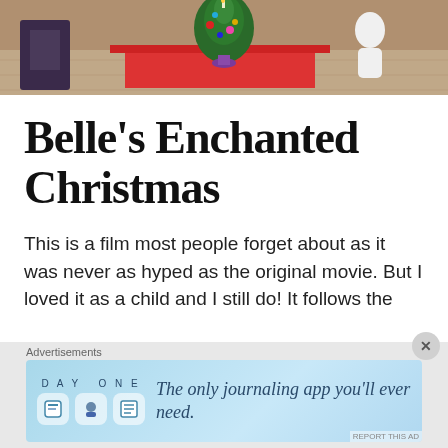[Figure (illustration): Animated scene from Belle's Enchanted Christmas showing a decorated Christmas tree centerpiece on a table in a castle setting, with a figure in white dress visible]
Belle’s Enchanted Christmas
This is a film most people forget about as it was never as hyped as the original movie. But I loved it as a child and I still do! It follows the story of Belle discovering that Beast despises Christmas, which is a season she loves, and she tries her
Advertisements
[Figure (other): DAY ONE journaling app advertisement banner with text: The only journaling app you’ll ever need.]